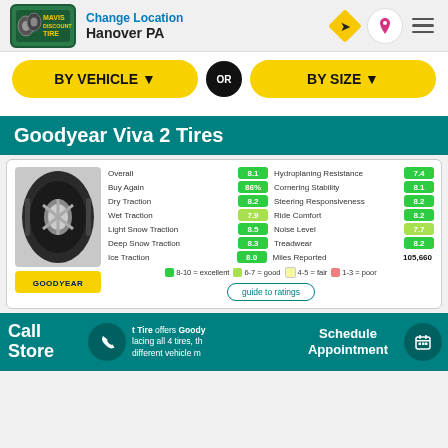Change Location
Hanover PA
BY VEHICLE ▼
OR
BY SIZE ▼
Goodyear Viva 2 Tires
| Metric | Score | Metric | Score |
| --- | --- | --- | --- |
| Overall | 8.1 | Hydroplaning Resistance | 7.4 |
| Buy Again | 86% | Cornering Stability | 8.1 |
| Dry Traction | 8.2 | Steering Responsiveness | 8.2 |
| Wet Traction | 7.9 | Ride Comfort | 8.2 |
| Light Snow Traction | 8.5 | Noise Level | 7.7 |
| Deep Snow Traction | 8.3 | Treadwear | 8.2 |
| Ice Traction | 8.0 | Miles Reported | 105,660 |
8-10 = excellent   6-7 = good   4-5 = fair   1-3 = poor
guide to ratings
Call Store | Mavis Discount Tire offers Goody...lacing all 4 tires, th...different vehicle m... | Schedule Appointment